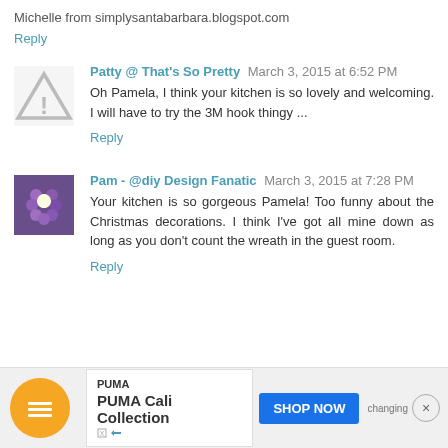Michelle from simplysantabarbara.blogspot.com
Reply
Patty @ That's So Pretty  March 3, 2015 at 6:52 PM
Oh Pamela, I think your kitchen is so lovely and welcoming. I will have to try the 3M hook thingy ...
Reply
Pam - @diy Design Fanatic  March 3, 2015 at 7:28 PM
Your kitchen is so gorgeous Pamela! Too funny about the Christmas decorations. I think I've got all mine down as long as you don't count the wreath in the guest room.
Reply
[Figure (infographic): Ad banner for PUMA Cali Collection with Shop Now button]